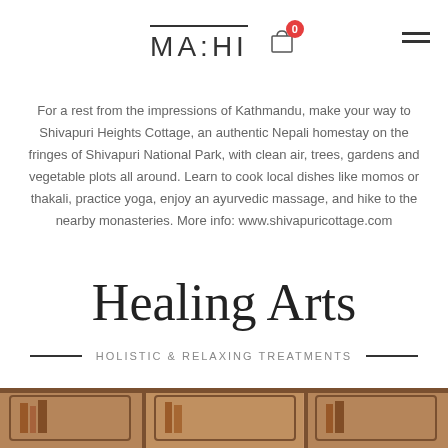MA:HI
For a rest from the impressions of Kathmandu, make your way to Shivapuri Heights Cottage, an authentic Nepali homestay on the fringes of Shivapuri National Park, with clean air, trees, gardens and vegetable plots all around. Learn to cook local dishes like momos or thakali, practice yoga, enjoy an ayurvedic massage, and hike to the nearby monasteries. More info: www.shivapuricottage.com
Healing Arts
HOLISTIC & RELAXING TREATMENTS
[Figure (photo): Wooden shelving unit with books/items, warm brown tones, partially visible at bottom of page]